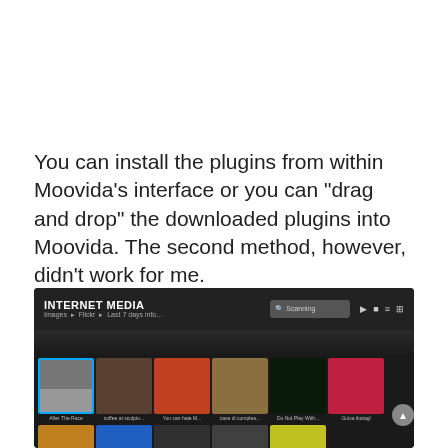You can install the plugins from within Moovida’s interface or you can “drag and drop” the downloaded plugins into Moovida. The second method, however, didn’t work for me.
[Figure (screenshot): Screenshot of Moovida media player showing INTERNET MEDIA section with Flickr images thumbnails grid on a dark background]